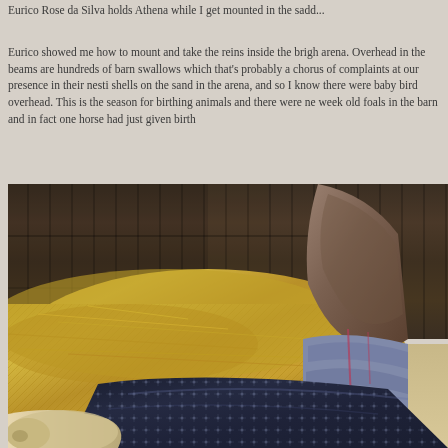Eurico Rose da Silva holds Athena while I get mounted in the sadd...
Eurico showed me how to mount and take the reins inside the brigh arena. Overhead in the beams are hundreds of barn swallows which that's probably a chorus of complaints at our presence in their nesti shells on the sand in the arena, and so I know there were baby bird overhead. This is the season for birthing animals and there were ne week old foals in the barn and in fact one horse had just given birth
[Figure (photo): A newborn foal lying in straw/hay in a barn stall with wooden walls. A person in a dark patterned sweater is beside the foal, and a horse leg with a bluish bandage/wrap is visible in the background upper right.]